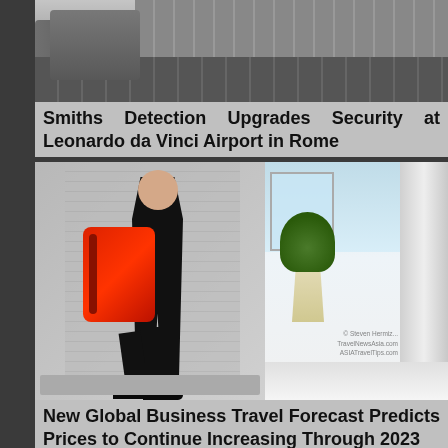[Figure (photo): Airport security scanning equipment / baggage conveyor belt machinery in a modern airport setting]
Smiths Detection Upgrades Security at Leonardo da Vinci Airport in Rome
[Figure (photo): Business traveler walking through airport security checkpoint carrying a red backpack, with an airport terminal lobby visible in the background featuring a plant and pillar. Watermark: © Steven Hermis... TravelNewsAsia.com ASIATravelTips.com]
New Global Business Travel Forecast Predicts Prices to Continue Increasing Through 2023